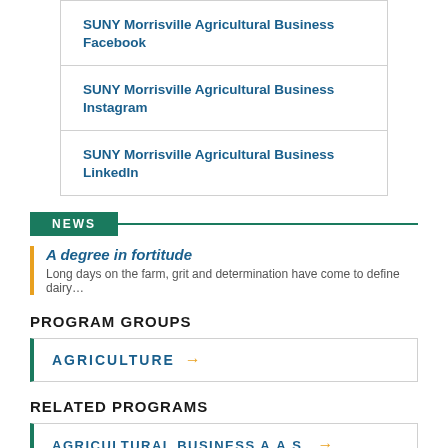SUNY Morrisville Agricultural Business Facebook
SUNY Morrisville Agricultural Business Instagram
SUNY Morrisville Agricultural Business LinkedIn
NEWS
A degree in fortitude
Long days on the farm, grit and determination have come to define dairy…
PROGRAM GROUPS
AGRICULTURE →
RELATED PROGRAMS
AGRICULTURAL BUSINESS A.A.S. →